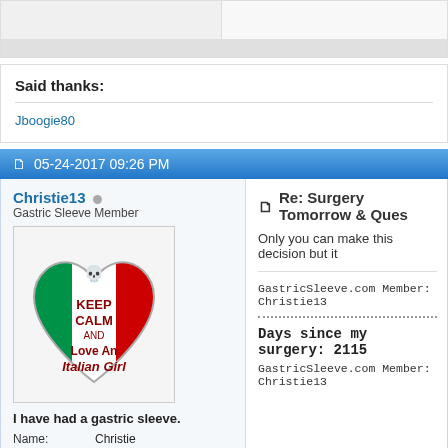Said thanks:
Jboogie80
05-24-2017 09:26 PM
Christie13
Gastric Sleeve Member
[Figure (photo): Avatar image showing a heart with Italian flag colors (green, white, red) and text: KEEP CALM AND Love An Italian Girl, with a skull and crossbones at the top]
I have had a gastric sleeve.
Name: Christie
Surgery date: 11/03/2016
Surgeon: Dr. Wright
Re: Surgery Tomorrow & Ques
Only you can make this decision but it
GastricSleeve.com Member: Christie13
Days since my surgery: 2115
GastricSleeve.com Member: Christie13